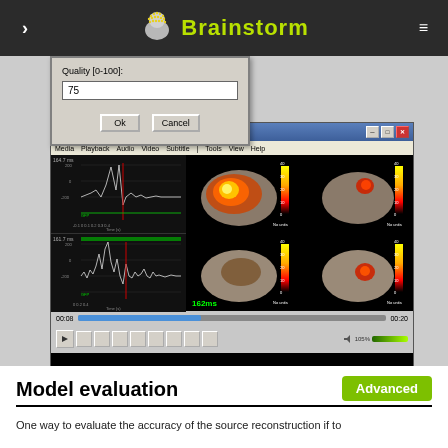Brainstorm
[Figure (screenshot): Dialog box with Quality [0-100]: input field showing 75, with Ok and Cancel buttons]
[Figure (screenshot): VLC media player window showing average_sources_unconstr.avi with waveforms on left and brain source reconstruction images on right, playback at 00:08 of 00:20, showing 162ms timestamp in green]
Model evaluation
Advanced
One way to evaluate the accuracy of the source reconstruction if to